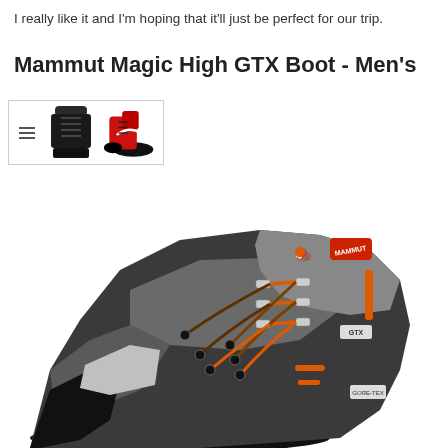I really like it and I'm hoping that it'll just be perfect for our trip.
Mammut Magic High GTX Boot - Men's
[Figure (photo): Product thumbnail images of the Mammut Magic High GTX Boot showing two small views: one dark top-down view and one red/black side view, with a hamburger menu icon]
[Figure (photo): Large close-up photo of the Mammut Magic High GTX Boot in dark grey/black with orange laces and orange accent details, showing the upper boot with lacing hardware and GTX branding]